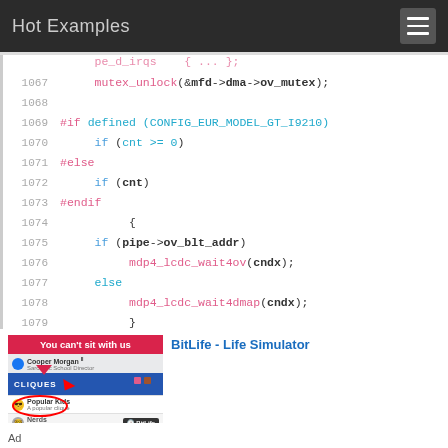Hot Examples
[Figure (screenshot): Code viewer showing C source lines 1067-1080 with syntax highlighting. Line 1067: mutex_unlock(&mfd->dma->ov_mutex); Line 1069: #if defined (CONFIG_EUR_MODEL_GT_I9210) Line 1070: if (cnt >= 0) Line 1071: #else Line 1072: if (cnt) Line 1073: #endif Line 1074: { Line 1075: if (pipe->ov_blt_addr) Line 1076: mdp4_lcdc_wait4ov(cndx); Line 1077: else Line 1078: mdp4_lcdc_wait4dmap(cndx); Line 1079: } Line 1080: (empty)]
[Figure (screenshot): Advertisement for BitLife - Life Simulator game showing a social network cliques screen with 'You can't sit with us' banner and red arrow pointing to Popular Kids group.]
Ad